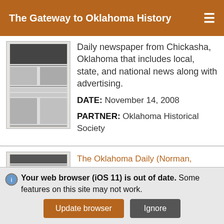The Gateway to Oklahoma History
Daily newspaper from Chickasha, Oklahoma that includes local, state, and national news along with advertising.
DATE: November 14, 2008
PARTNER: Oklahoma Historical Society
[Figure (screenshot): Thumbnail image of a newspaper front page]
[Figure (screenshot): Thumbnail image of The Oklahoma Daily newspaper front page]
The Oklahoma Daily (Norman, Okla.), Vol. 93, No. 60, Ed. 1 Friday, November 14, 2008
Your web browser (iOS 11) is out of date. Some features on this site may not work.